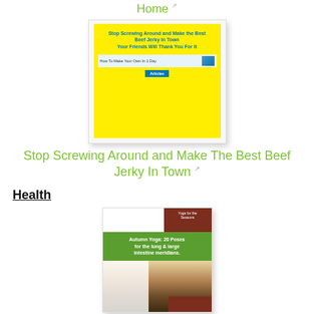Home
[Figure (illustration): Book cover: Stop Screwing Around and Make the Best Beef Jerky In Town - Your Friends Will Thank You For It, yellow background with blue title text, subtitle bar and Articles button]
Stop Screwing Around and Make The Best Beef Jerky In Town
Health
[Figure (illustration): Book cover: Autumn Yoga - 20 Poses for the lung & large intestine meridians, green band with white text, autumn forest road photo, brown sections]